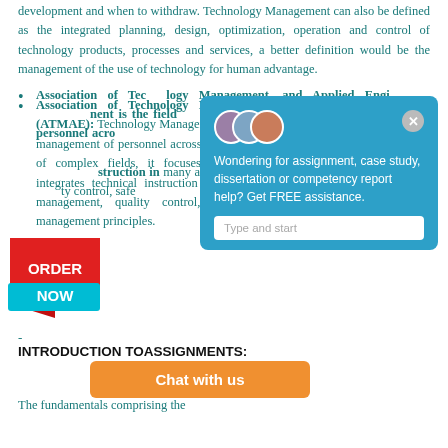development and when to withdraw. Technology Management can also be defined as the integrated planning, design, optimization, operation and control of technology products, processes and services, a better definition would be the management of the use of technology for human advantage.
Association of Technology Management, and Applied Engineering (ATMAE): Technology Management is the field concerned with selection and management of personnel across industrial sectors. Since it includes a variety of complex fields, it focuses on technology, Technology management integrates technical instruction in many areas such as industrial, project management, quality control, safety and environment, and general management principles.
-
INTRODUCTION TOASSIGNMENTS:
The fundamentals comprising the